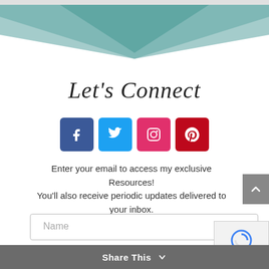[Figure (illustration): Decorative teal geometric banner with two overlapping curved/angled teal shapes forming an X or bowtie pattern on a white background]
Let's Connect
[Figure (infographic): Row of four social media icon buttons: Facebook (dark blue), Twitter (light blue), Instagram (pink/red), Pinterest (red)]
Enter your email to access my exclusive Resources! You'll also receive periodic updates delivered to your inbox.
[Figure (screenshot): Name text input field with placeholder text 'Name']
[Figure (screenshot): Email text input field with placeholder text 'Email']
Share This